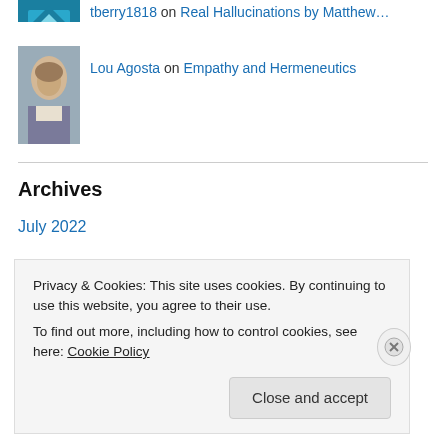[Figure (illustration): Teal/blue geometric patterned avatar (partial, cropped at top)]
tberry1818 on Real Hallucinations by Matthew…
[Figure (photo): Avatar photo of Lou Agosta, a person in a suit]
Lou Agosta on Empathy and Hermeneutics
Archives
July 2022
June 2022
May 2022
March 2022 (partial)
Privacy & Cookies: This site uses cookies. By continuing to use this website, you agree to their use.
To find out more, including how to control cookies, see here: Cookie Policy
Close and accept